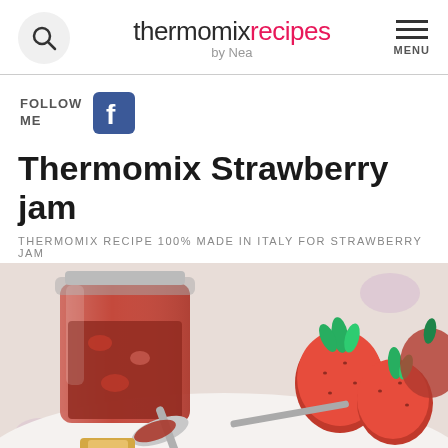thermomixrecipes by Nea
FOLLOW ME
Thermomix Strawberry jam
THERMOMIX RECIPE 100% MADE IN ITALY FOR STRAWBERRY JAM
[Figure (photo): A jar of strawberry jam with a spoon and fresh strawberries on a white plate]